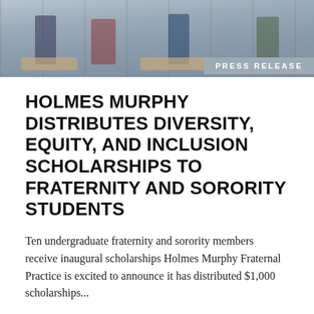[Figure (photo): Classroom scene with students sitting at desks, viewed from a slightly elevated angle. Students are wearing casual clothing in various colors.]
PRESS RELEASE
HOLMES MURPHY DISTRIBUTES DIVERSITY, EQUITY, AND INCLUSION SCHOLARSHIPS TO FRATERNITY AND SORORITY STUDENTS
Ten undergraduate fraternity and sorority members receive inaugural scholarships Holmes Murphy Fraternal Practice is excited to announce it has distributed $1,000 scholarships...
Read more >>